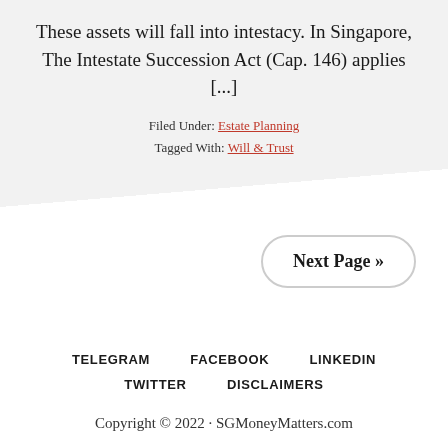These assets will fall into intestacy. In Singapore, The Intestate Succession Act (Cap. 146) applies [...]
Filed Under: Estate Planning
Tagged With: Will & Trust
Next Page »
TELEGRAM   FACEBOOK   LINKEDIN
TWITTER   DISCLAIMERS
Copyright © 2022 · SGMoneyMatters.com